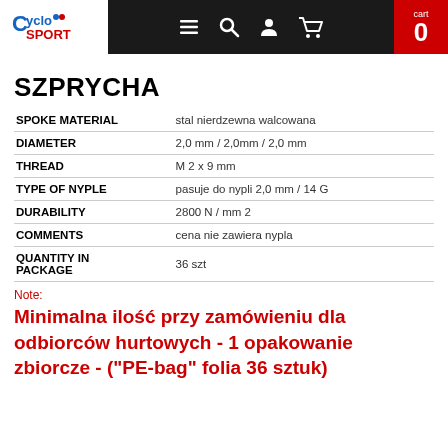CycloSport header with navigation icons and cart (0)
SZPRYCHA
|  |  |
| --- | --- |
| SPOKE MATERIAL | stal nierdzewna walcowana |
| DIAMETER | 2,0 mm / 2,0mm / 2,0 mm |
| THREAD | M 2 x 9 mm |
| TYPE OF NYPLE | pasuje do nypli 2,0 mm / 14 G |
| DURABILITY | 2800 N / mm 2 |
| COMMENTS | cena nie zawiera nypla |
| QUANTITY IN PACKAGE | 36 szt |
Note:
Minimalna ilość przy zamówieniu dla odbiorców hurtowych - 1 opakowanie zbiorcze - ("PE-bag" folia 36 sztuk)